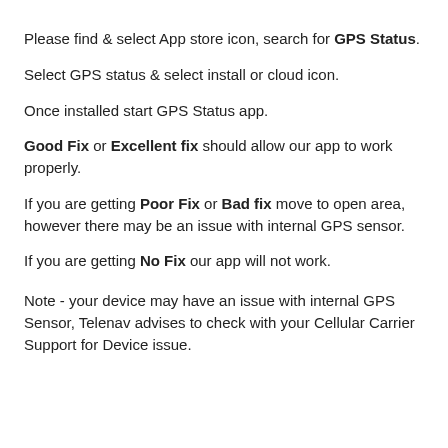Please find & select App store icon, search for GPS Status.
Select GPS status & select install or cloud icon.
Once installed start GPS Status app.
Good Fix or Excellent fix should allow our app to work properly.
If you are getting Poor Fix or Bad fix move to open area, however there may be an issue with internal GPS sensor.
If you are getting No Fix our app will not work.
Note - your device may have an issue with internal GPS Sensor, Telenav advises to check with your Cellular Carrier Support for Device issue.